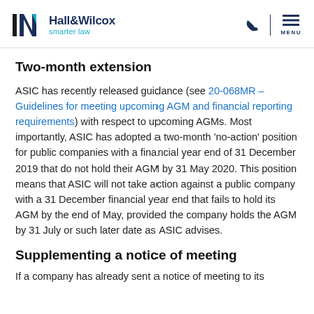Hall&Wilcox smarter law
Two-month extension
ASIC has recently released guidance (see 20-068MR – Guidelines for meeting upcoming AGM and financial reporting requirements) with respect to upcoming AGMs. Most importantly, ASIC has adopted a two-month 'no-action' position for public companies with a financial year end of 31 December 2019 that do not hold their AGM by 31 May 2020. This position means that ASIC will not take action against a public company with a 31 December financial year end that fails to hold its AGM by the end of May, provided the company holds the AGM by 31 July or such later date as ASIC advises.
Supplementing a notice of meeting
If a company has already sent a notice of meeting to its